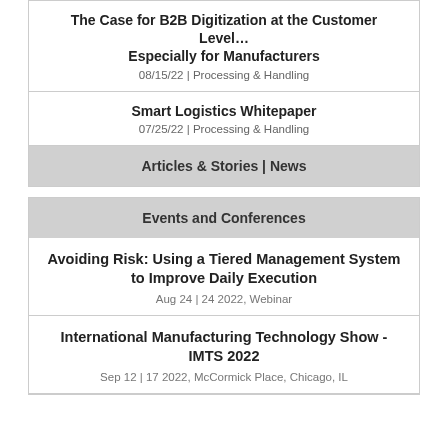The Case for B2B Digitization at the Customer Level… Especially for Manufacturers
08/15/22 | Processing & Handling
Smart Logistics Whitepaper
07/25/22 | Processing & Handling
Articles & Stories | News
Events and Conferences
Avoiding Risk: Using a Tiered Management System to Improve Daily Execution
Aug 24 | 24 2022, Webinar
International Manufacturing Technology Show - IMTS 2022
Sep 12 | 17 2022, McCormick Place, Chicago, IL